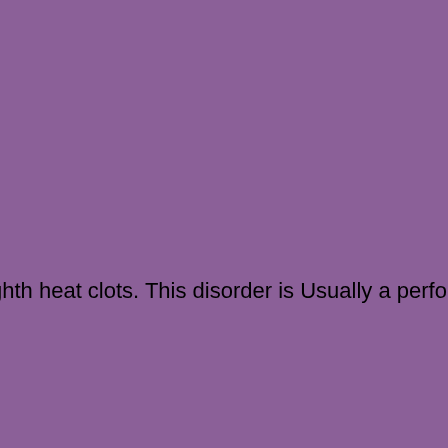ghth heat clots. This disorder is Usually a performance-o